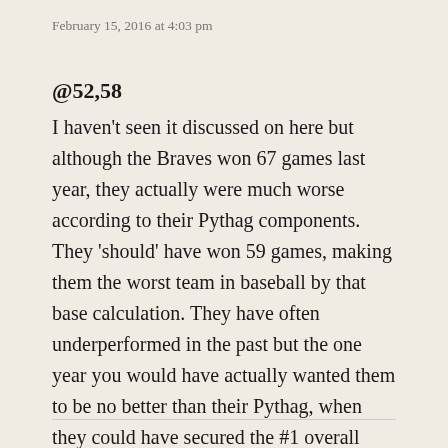February 15, 2016 at 4:03 pm
@52,58
I haven't seen it discussed on here but although the Braves won 67 games last year, they actually were much worse according to their Pythag components. They 'should' have won 59 games, making them the worst team in baseball by that base calculation. They have often underperformed in the past but the one year you would have actually wanted them to be no better than their Pythag, when they could have secured the #1 overall pick, they actually screw up and overperform by 8 wins!